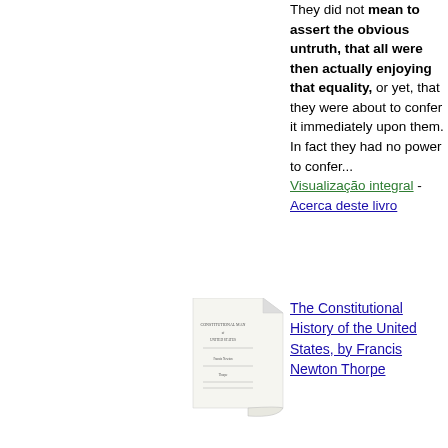They did not mean to assert the obvious untruth, that all were then actually enjoying that equality, or yet, that they were about to confer it immediately upon them. In fact they had no power to confer... Visualização integral - Acerca deste livro
[Figure (illustration): Thumbnail image of a book cover with title text, shown at an angle]
The Constitutional History of the United States, by Francis Newton Thorpe